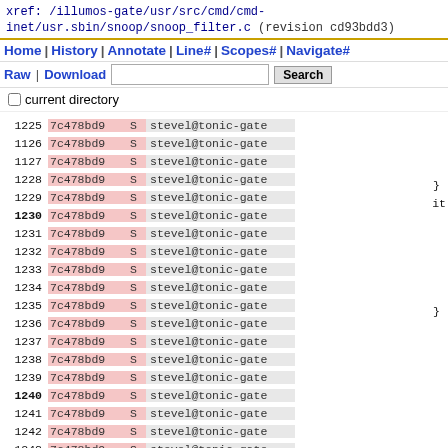xref: /illumos-gate/usr/src/cmd/cmd-inet/usr.sbin/snoop/snoop_filter.c (revision cd93bdd3)
Home | History | Annotate | Line# | Scopes# | Navigate#
Raw | Download  [Search]  current directory
| line | rev | S | author | code |
| --- | --- | --- | --- | --- |
| 1225 | 7c478bd9 | S | stevel@tonic-gate |  |
| 1226 | 7c478bd9 | S | stevel@tonic-gate |  |
| 1227 | 7c478bd9 | S | stevel@tonic-gate |  |
| 1228 | 7c478bd9 | S | stevel@tonic-gate | } |
| 1229 | 7c478bd9 | S | stevel@tonic-gate | it |
| 1230 | 7c478bd9 | S | stevel@tonic-gate |  |
| 1231 | 7c478bd9 | S | stevel@tonic-gate |  |
| 1232 | 7c478bd9 | S | stevel@tonic-gate |  |
| 1233 | 7c478bd9 | S | stevel@tonic-gate |  |
| 1234 | 7c478bd9 | S | stevel@tonic-gate |  |
| 1235 | 7c478bd9 | S | stevel@tonic-gate | } |
| 1236 | 7c478bd9 | S | stevel@tonic-gate |  |
| 1237 | 7c478bd9 | S | stevel@tonic-gate |  |
| 1238 | 7c478bd9 | S | stevel@tonic-gate |  |
| 1239 | 7c478bd9 | S | stevel@tonic-gate |  |
| 1240 | 7c478bd9 | S | stevel@tonic-gate |  |
| 1241 | 7c478bd9 | S | stevel@tonic-gate |  |
| 1242 | 7c478bd9 | S | stevel@tonic-gate |  |
| 1243 | 7c478bd9 | S | stevel@tonic-gate |  |
| 1244 | 7c478bd9 | S | stevel@tonic-gate |  |
| 1245 | 7c478bd9 | S | stevel@tonic-gate |  |
| 1246 | 7c478bd9 | S | stevel@tonic-gate |  |
| 1247 | 7c478bd9 | S | stevel@tonic-gate |  |
| 1248 | 7c478bd9 | S | stevel@tonic-gate |  |
| 1249 | 7c478bd9 | S | stevel@tonic-gate |  |
| 1250 | 7c478bd9 | S | stevel@tonic-gate |  |